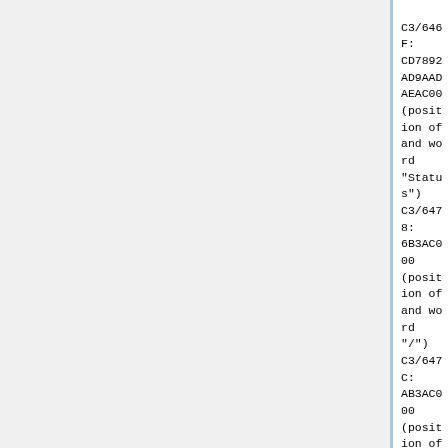C3/646F: CD7892AD9AADAEAC00 (position of and word "Status")
C3/6478:       6B3AC000 (position of and word "/")
C3/647C:       AB3AC000 (position of and word "/")
C3/6480:        837FCD00 (position of and word "%")
C3/6484:        8388CD00 (position of and word "%")
C3/6488:       1D3A8B9500 (position of and word "LV")
C3/648D:       5D3A878F00 (position of and word "HP")
C3/6492:       9D3A8C8F00 (position of and word "MP")
C3/6497: CF7E95A2A0A8AB00 (position of and word